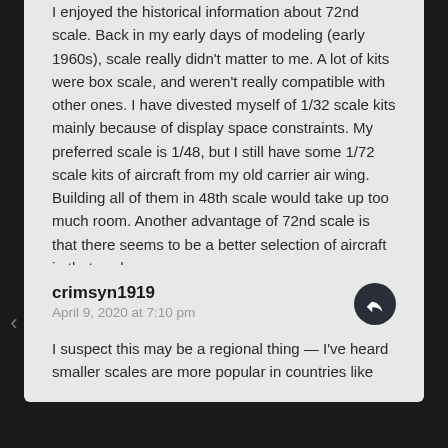I enjoyed the historical information about 72nd scale. Back in my early days of modeling (early 1960s), scale really didn't matter to me. A lot of kits were box scale, and weren't really compatible with other ones. I have divested myself of 1/32 scale kits mainly because of display space constraints. My preferred scale is 1/48, but I still have some 1/72 scale kits of aircraft from my old carrier air wing. Building all of them in 48th scale would take up too much room. Another advantage of 72nd scale is that there seems to be a better selection of aircraft in that scale.
Liked by 1 person
crimsyn1919
April 9, 2020 at 7:10 pm
I suspect this may be a regional thing — I've heard smaller scales are more popular in countries like